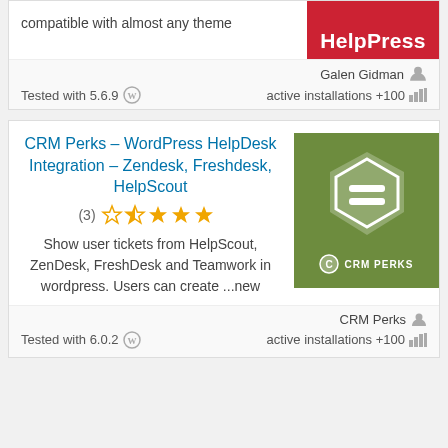[Figure (logo): HelpPress logo - red rectangle with white bold text]
Galen Gidman
Tested with 5.6.9   active installations +100
CRM Perks – WordPress HelpDesk Integration – Zendesk, Freshdesk, HelpScout
(3) [2 star rating out of 5]
Show user tickets from HelpScout, ZenDesk, FreshDesk and Teamwork in wordpress. Users can create ...new
[Figure (logo): CRM Perks logo - green square with white hexagon shield icon and CRM Perks text]
CRM Perks
Tested with 6.0.2   active installations +100